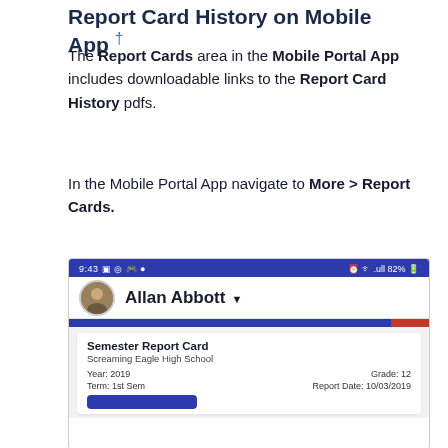Report Card History on Mobile App †
The Report Cards area in the Mobile Portal App includes downloadable links to the Report Card History pdfs.
In the Mobile Portal App navigate to More > Report Cards.
[Figure (screenshot): Mobile app screenshot showing status bar at 9:43 with 82% battery, Allan Abbott profile with dropdown arrow, a blue/red decorative bar, and a Semester Report Card card for Screaming Eagle High School showing Year: 2019, Grade: 12, Term: 1st Sem, Report Date: 10/03/2019, with a blue download button partially visible.]